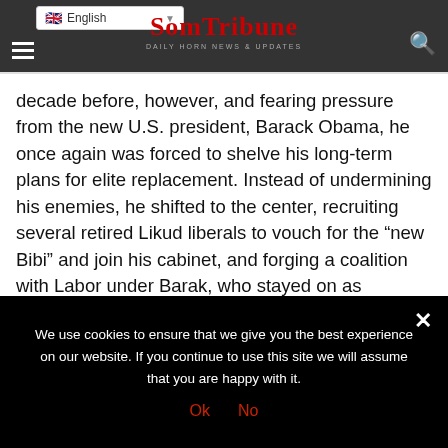English | SomTribune - Daily Horn News & Updates
decade before, however, and fearing pressure from the new U.S. president, Barack Obama, he once again was forced to shelve his long-term plans for elite replacement. Instead of undermining his enemies, he shifted to the center, recruiting several retired Likud liberals to vouch for the “new Bibi” and join his cabinet, and forging a coalition with Labor under Barak, who stayed on as defense minister (a job he’d held under Olmert). Together Netanyahu and Barak spent much of
We use cookies on our website to give you the most relevant experience by remembering your preferences and repeat visits. By clicking “Accept”, you consent to the use
We use cookies to ensure that we give you the best experience on our website. If you continue to use this site we will assume that you are happy with it.
Ok  No